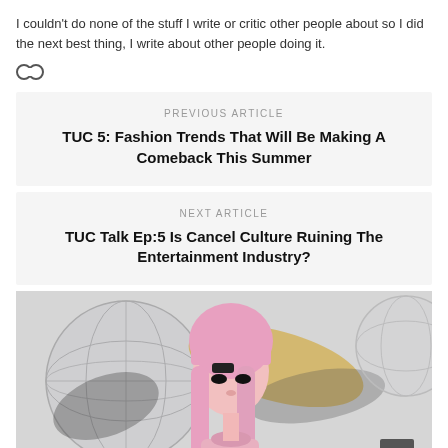I couldn't do none of the stuff I write or critic other people about so I did the next best thing, I write about other people doing it.
🔗
PREVIOUS ARTICLE
TUC 5: Fashion Trends That Will Be Making A Comeback This Summer
NEXT ARTICLE
TUC Talk Ep:5 Is Cancel Culture Ruining The Entertainment Industry?
[Figure (photo): A young woman with long pink hair and dramatic eye makeup, standing in front of exploding metallic disco ball spheres with golden and grey particle bursts on a light grey background.]